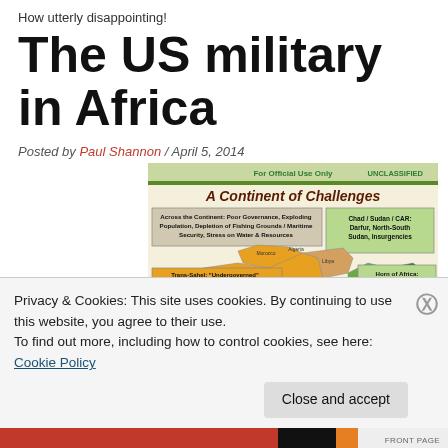How utterly disappointing!
The US military in Africa
Posted by Paul Shannon / April 5, 2014
[Figure (map): US military infographic titled 'A Continent of Challenges' showing a map of Africa with labeled regions: Trans-Sahel 'Undergoverned' Areas/Transnational Extremism, West Africa/Gulf of Guinea, Chad/Sudan/CAR: Darfur North-South Sudan Insurgencies, Horn of Africa: Chaos and Instability. Header reads 'For Official Use Only' and 'UNCLASSIFIED'.]
Privacy & Cookies: This site uses cookies. By continuing to use this website, you agree to their use.
To find out more, including how to control cookies, see here: Cookie Policy